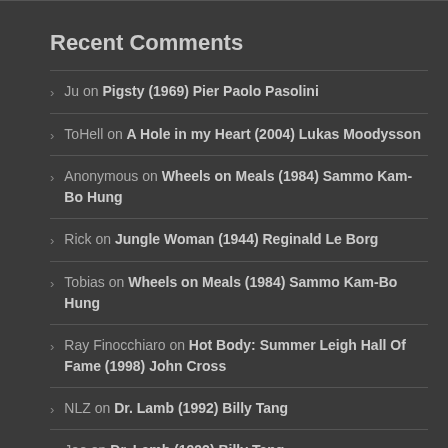Recent Comments
Ju on Pigsty (1969) Pier Paolo Pasolini
ToHell on A Hole in my Heart (2004) Lukas Moodysson
Anonymous on Wheels on Meals (1984) Sammo Kam-Bo Hung
Rick on Jungle Woman (1944) Reginald Le Borg
Tobias on Wheels on Meals (1984) Sammo Kam-Bo Hung
Ray Finocchiaro on Hot Body: Summer Leigh Hall Of Fame (1998) John Cross
NLZ on Dr. Lamb (1992) Billy Tang
Joe on Dr. Lamb (1992) Billy Tang